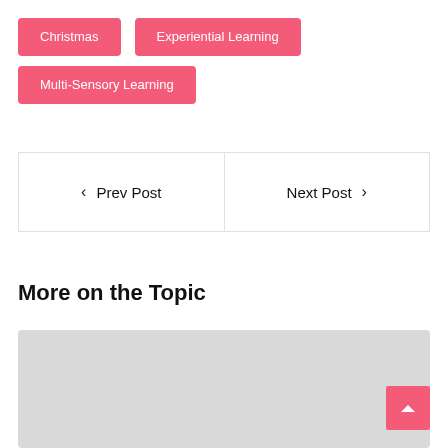Christmas
Experiential Learning
Multi-Sensory Learning
< Prev Post
Next Post >
More on the Topic
[Figure (photo): Gray placeholder image block]